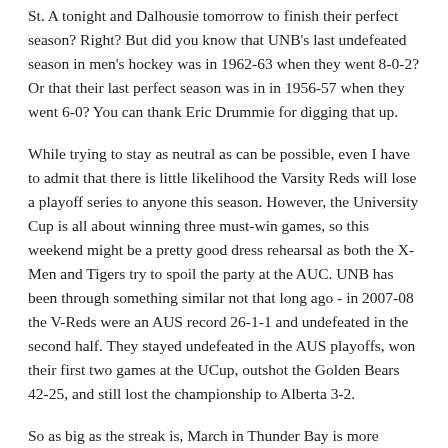St. A tonight and Dalhousie tomorrow to finish their perfect season? Right? But did you know that UNB's last undefeated season in men's hockey was in 1962-63 when they went 8-0-2? Or that their last perfect season was in in 1956-57 when they went 6-0? You can thank Eric Drummie for digging that up.
While trying to stay as neutral as can be possible, even I have to admit that there is little likelihood the Varsity Reds will lose a playoff series to anyone this season. However, the University Cup is all about winning three must-win games, so this weekend might be a pretty good dress rehearsal as both the X-Men and Tigers try to spoil the party at the AUC. UNB has been through something similar not that long ago - in 2007-08 the V-Reds were an AUS record 26-1-1 and undefeated in the second half. They stayed undefeated in the AUS playoffs, won their first two games at the UCup, outshot the Golden Bears 42-25, and still lost the championship to Alberta 3-2.
So as big as the streak is, March in Thunder Bay is more important ...